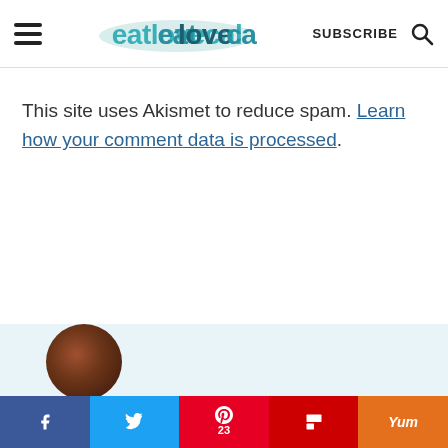eatlovecal — SUBSCRIBE
This site uses Akismet to reduce spam. Learn how your comment data is processed.
[Figure (photo): Food image in circular crop on light blue background at bottom of page]
Social share bar: Facebook, Twitter, Pinterest (23), Flipboard, Yummly